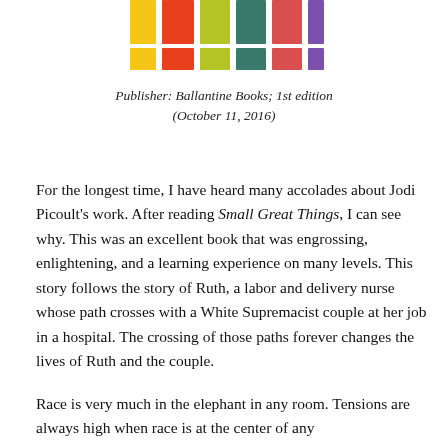[Figure (illustration): Colorful book cover image showing a row of book spines in various colors: yellow, orange, olive/lime, teal/green, coral/red, and purple]
Publisher: Ballantine Books; 1st edition (October 11, 2016)
For the longest time, I have heard many accolades about Jodi Picoult's work. After reading Small Great Things, I can see why. This was an excellent book that was engrossing, enlightening, and a learning experience on many levels. This story follows the story of Ruth, a labor and delivery nurse whose path crosses with a White Supremacist couple at her job in a hospital. The crossing of those paths forever changes the lives of Ruth and the couple.
Race is very much in the elephant in any room. Tensions are always high when race is at the center of any conversation. Picoult does a masterful job at the...